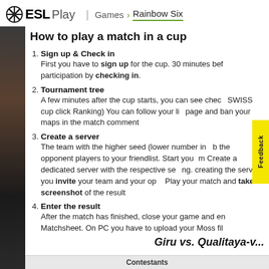ESL Play | Games > Rainbow Six
How to play a match in a cup
Sign up & Check in
First you have to sign up for the cup. 30 minutes before participation by checking in.
Tournament tree
A few minutes after the cup starts, you can see check... SWISS cup click Ranking) You can follow your li... page and ban your maps in the match comment...
Create a server
The team with the higher seed (lower number in... the opponent players to your friendlist. Start you... Create a dedicated server with the respective se...g. creating the server you invite your team and your op... Play your match and take a screenshot of the result.
Enter the result
After the match has finished, close your game and en... Matchsheet. On PC you have to upload your Moss fil...
Giru vs. Qualitaya-v...
Contestants